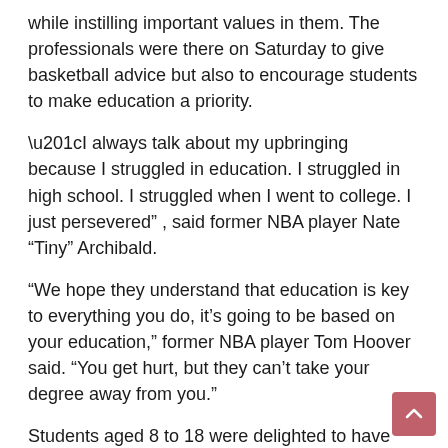while instilling important values in them. The professionals were there on Saturday to give basketball advice but also to encourage students to make education a priority.
“I always talk about my upbringing because I struggled in education. I struggled in high school. I struggled when I went to college. I just persevered” , said former NBA player Nate “Tiny” Archibald.
“We hope they understand that education is key to everything you do, it’s going to be based on your education,” former NBA player Tom Hoover said. “You get hurt, but they can’t take your degree away from you.”
Students aged 8 to 18 were delighted to have the opportunity to be supervised by pros.
“Today was great, I loved it. I love basketball and I feel like the pros could help me improve and improve my skills,” said Malcolm Wright, fifth-grade student.